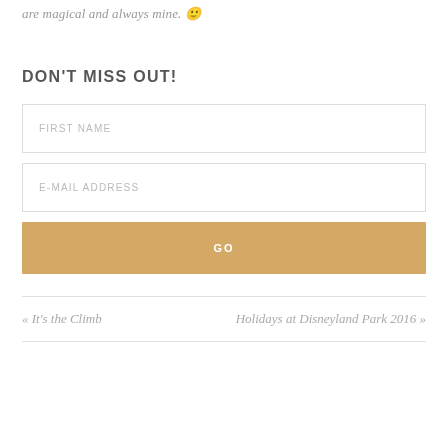are magical and always mine. 🙂
DON'T MISS OUT!
FIRST NAME
E-MAIL ADDRESS
GO
« It's the Climb
Holidays at Disneyland Park 2016 »